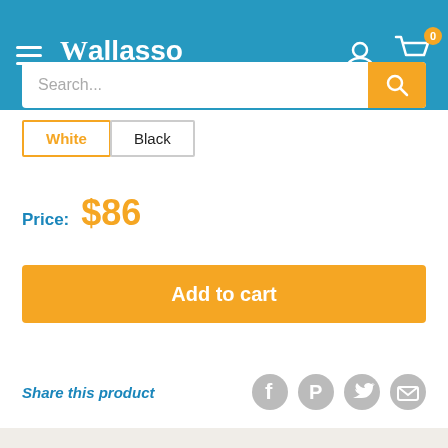Wallasso — The Wall Art Superstore
Search...
White
Black
Price: $86
Add to cart
Share this product